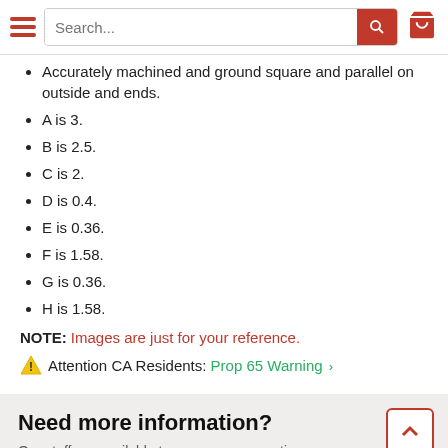Navigation bar with hamburger menu, search box, and cart icon
Accurately machined and ground square and parallel on outside and ends.
A is 3.
B is 2.5.
C is 2.
D is 0.4.
E is 0.36.
F is 1.58.
G is 0.36.
H is 1.58.
NOTE: Images are just for your reference.
Attention CA Residents: Prop 65 Warning
Need more information?
Our staff are available to answer any questions you may have about this item